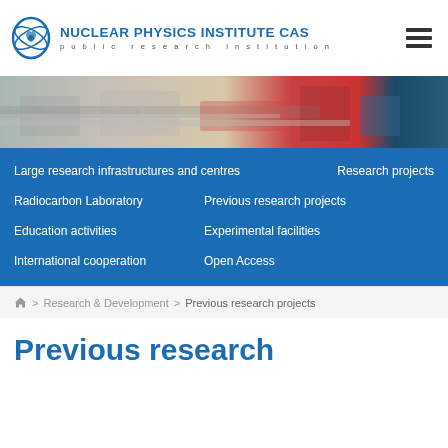[Figure (logo): Nuclear Physics Institute CAS logo with circular atom/hand icon and institution name]
[Figure (photo): Hero banner photo showing laboratory/accelerator equipment, metal pipes and machinery in blue and red colors]
Large research infrastructures and centres
Research projects
Radiocarbon Laboratory
Previous research projects
Education activities
Experimental facilities
International cooperation
Open Access
🏠 > Research & Development > Previous research projects
Previous research projects